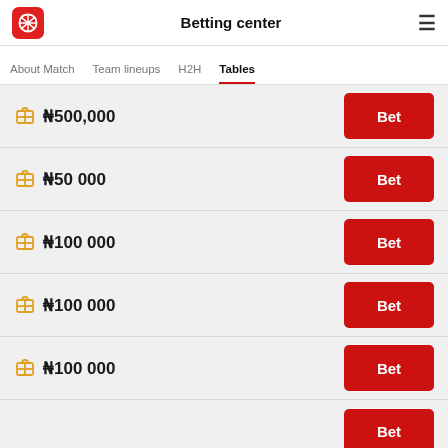Betting center
About Match | Team lineups | H2H | Tables
₦500,000 Bet
₦50 000 Bet
₦100 000 Bet
₦100 000 Bet
₦100 000 Bet
Bet